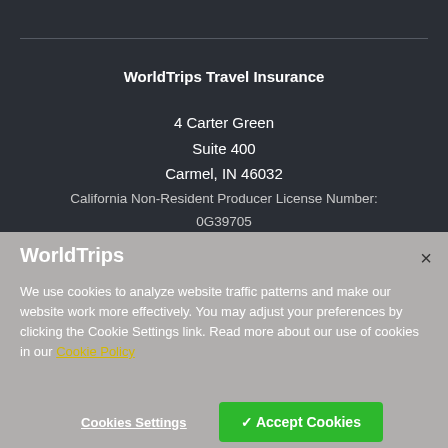WorldTrips Travel Insurance
4 Carter Green
Suite 400
Carmel, IN 46032
California Non-Resident Producer License Number:
0G39705
WorldTrips
We use cookies to analyze website traffic patterns and make our website work more effectively. You may adjust your preferences by clicking the Cookie Settings link. Read more about our use of cookies in our Cookie Policy
Cookies Settings
✓ Accept Cookies